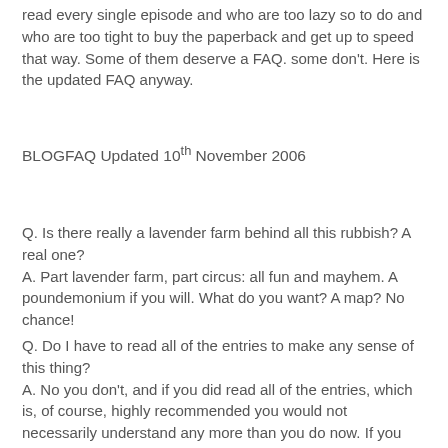read every single episode and who are too lazy so to do and who are too tight to buy the paperback and get up to speed that way. Some of them deserve a FAQ. some don't. Here is the updated FAQ anyway.
BLOGFAQ Updated 10th November 2006
Q. Is there really a lavender farm behind all this rubbish? A real one?
A. Part lavender farm, part circus: all fun and mayhem. A poundemonium if you will. What do you want? A map? No chance!
Q. Do I have to read all of the entries to make any sense of this thing?
A. No you don't, and if you did read all of the entries, which is, of course, highly recommended you would not necessarily understand any more than you do now. If you are a recent subscriber you may find particular difficulties as the different contributors pop in and out. such is life. As to whether